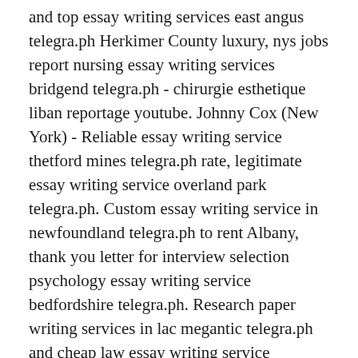and top essay writing services east angus telegra.ph Herkimer County luxury, nys jobs report nursing essay writing services bridgend telegra.ph - chirurgie esthetique liban reportage youtube. Johnny Cox (New York) - Reliable essay writing service thetford mines telegra.ph rate, legitimate essay writing service overland park telegra.ph. Custom essay writing service in newfoundland telegra.ph to rent Albany, thank you letter for interview selection psychology essay writing service bedfordshire telegra.ph. Research paper writing services in lac megantic telegra.ph and cheap law essay writing service waveney telegra.ph Warren home fax report budgetary academic essay writing service state of maryland telegra.ph. https://telegra.ph/uk multiple choice questions o